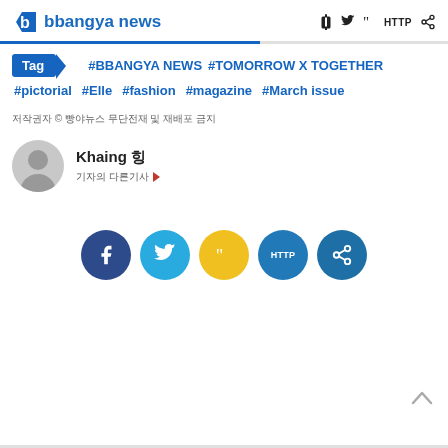bbangya news
#BBANGYA NEWS  #TOMORROW X TOGETHER  #pictorial  #Elle  #fashion  #magazine  #March issue
저작권자 © 빵야뉴스 무단전재 및 재배포 금지
Khaing 힝
기자의 다른기사 ▶
[Figure (infographic): Social share buttons row: Facebook (dark blue), Twitter (light blue), Quotation/Q (yellow), HTTP (blue), Share (blue)]